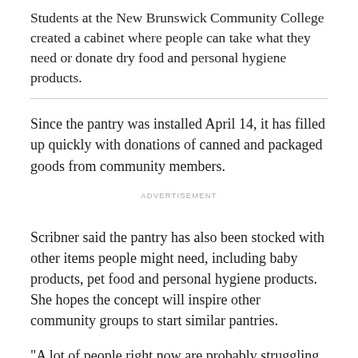Students at the New Brunswick Community College created a cabinet where people can take what they need or donate dry food and personal hygiene products.
Since the pantry was installed April 14, it has filled up quickly with donations of canned and packaged goods from community members.
ADVERTISEMENT
Scribner said the pantry has also been stocked with other items people might need, including baby products, pet food and personal hygiene products. She hopes the concept will inspire other community groups to start similar pantries.
"A lot of people right now are probably struggling and if they can take a few extra dollars to put in their po...